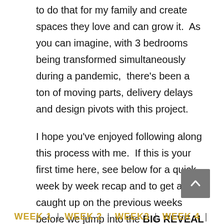to do that for my family and create spaces they love and can grow it.  As you can imagine, with 3 bedrooms being transformed simultaneously during a pandemic,  there's been a ton of moving parts, delivery delays and design pivots with this project.
I hope you've enjoyed following along this process with me.  If this is your first time here, see below for a quick week by week recap and to get all caught up on the previous weeks before we jump into the BIG REVEAL
WEEK 1  |  WEEK 2  |  WEEK3  |  WEEK 4  |